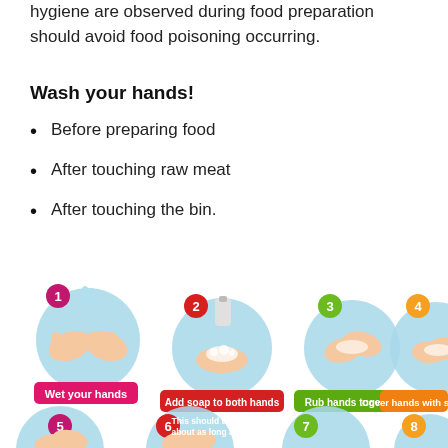hygiene are observed during food preparation should avoid food poisoning occurring.
Wash your hands!
Before preparing food
After touching raw meat
After touching the bin.
[Figure (infographic): Step-by-step hand washing infographic showing numbered steps (1-8) with illustrated hands in blue circles and colored labels: 1-Wet your hands (pink), 2-Add soap to both hands (red), 3-Rub hands together (green), 4-Cover hands with soap (orange), 5 and 6 continuing steps, 7 and 8 partially visible. Steps show hands under water, with soap, rubbing together.]